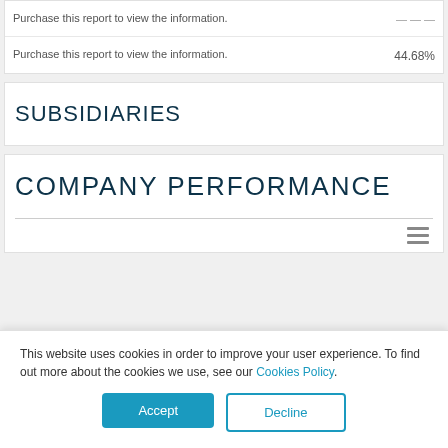Purchase this report to view the information.
44.68%
SUBSIDIARIES
COMPANY PERFORMANCE
This website uses cookies in order to improve your user experience. To find out more about the cookies we use, see our Cookies Policy.
Accept
Decline